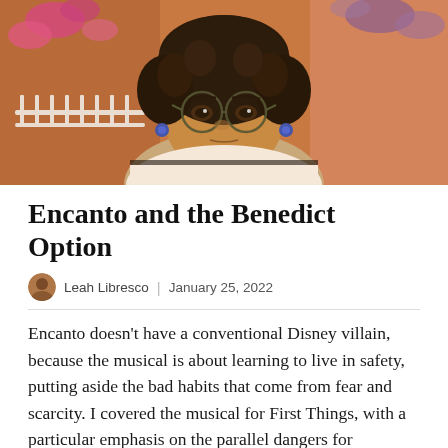[Figure (illustration): Screenshot from Disney's Encanto animated film showing a young girl character with curly dark hair, round glasses, and a flower tattoo on her arm, looking upward against a colorful background.]
Encanto and the Benedict Option
Leah Libresco  |  January 25, 2022
Encanto doesn't have a conventional Disney villain, because the musical is about learning to live in safety, putting aside the bad habits that come from fear and scarcity. I covered the musical for First Things, with a particular emphasis on the parallel dangers for Christians. The village is not so different from a Benedict Option... Read More